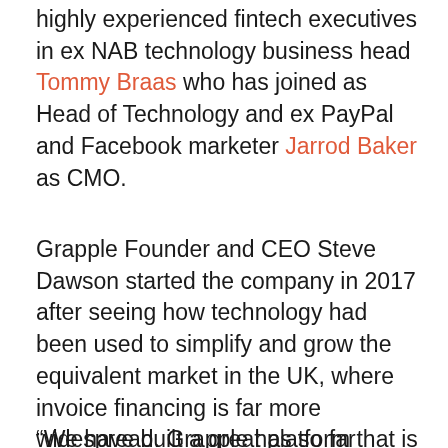highly experienced fintech executives in ex NAB technology business head Tommy Braas who has joined as Head of Technology and ex PayPal and Facebook marketer Jarrod Baker as CMO.
Grapple Founder and CEO Steve Dawson started the company in 2017 after seeing how technology had been used to simplify and grow the equivalent market in the UK, where invoice financing is far more widespread. Grapple has so far processed more than 100,000 invoices to the value of $70million for Australian SMEs, giving Grapple a significant competitive advantage and a pathway to efficiently scale the business.
"We have built a great platform that is intuitive and...